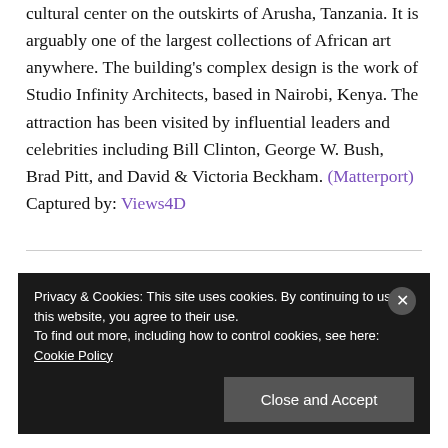cultural center on the outskirts of Arusha, Tanzania. It is arguably one of the largest collections of African art anywhere. The building's complex design is the work of Studio Infinity Architects, based in Nairobi, Kenya. The attraction has been visited by influential leaders and celebrities including Bill Clinton, George W. Bush, Brad Pitt, and David & Victoria Beckham. (Matterport) Captured by: Views4D
Privacy & Cookies: This site uses cookies. By continuing to use this website, you agree to their use. To find out more, including how to control cookies, see here: Cookie Policy